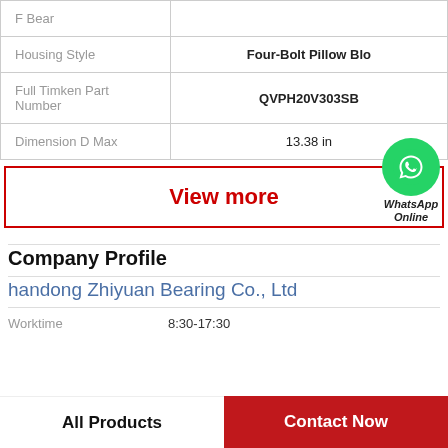| Property | Value |
| --- | --- |
| F Bear |  |
| Housing Style | Four-Bolt Pillow Blo |
| Full Timken Part Number | QVPH20V303SB |
| Dimension D Max | 13.38 in |
View more
[Figure (logo): WhatsApp Online green circle icon with phone handset, labeled WhatsApp Online]
Company Profile
handong Zhiyuan Bearing Co., Ltd
Worktime  8:30-17:30
All Products
Contact Now